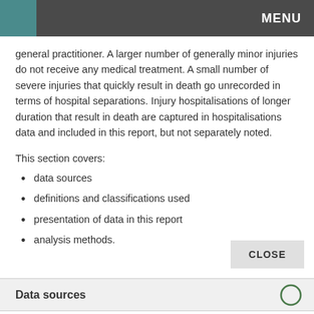MENU
general practitioner. A larger number of generally minor injuries do not receive any medical treatment. A small number of severe injuries that quickly result in death go unrecorded in terms of hospital separations. Injury hospitalisations of longer duration that result in death are captured in hospitalisations data and included in this report, but not separately noted.
This section covers:
data sources
definitions and classifications used
presentation of data in this report
analysis methods.
Data sources